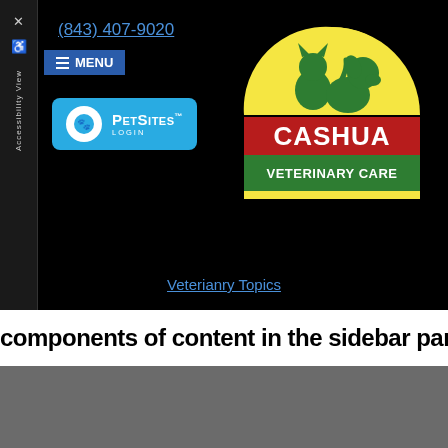(843) 407-9020
[Figure (logo): Cashua Veterinary Care logo with cat and dog silhouette on yellow half-circle and green/red banner]
[Figure (logo): PetSites LOGIN button in blue with white circle icon]
≡ MENU
Veterianry Topics
components of content in the sidebar partial.
Copyright © 2022 MH Sub I, LLC dba iMatrix | Admin Log In | Site Map | Privacy Policy | Hipaa Policy | Terms Of Use